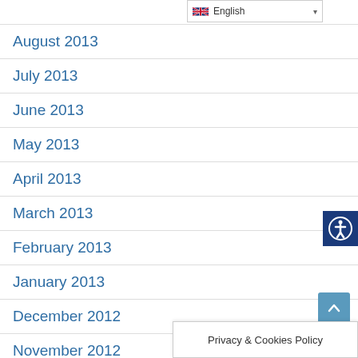August 2013
July 2013
June 2013
May 2013
April 2013
March 2013
February 2013
January 2013
December 2012
November 2012
October 2012
September 2012
August 2012
Privacy & Cookies Policy